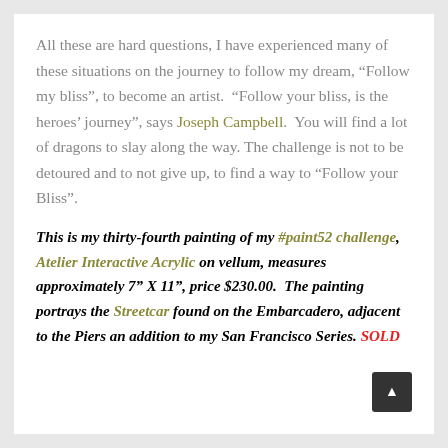All these are hard questions, I have experienced many of these situations on the journey to follow my dream, “Follow my bliss”, to become an artist.  “Follow your bliss, is the heroes’ journey”, says Joseph Campbell.  You will find a lot of dragons to slay along the way.  The challenge is not to be detoured and to not give up, to find a way to “Follow your Bliss”.
This is my thirty-fourth painting of my #paint52 challenge, Atelier Interactive Acrylic on vellum, measures approximately 7" X 11", price $230.00.  The painting portrays the Streetcar found on the Embarcadero, adjacent to the Piers an addition to my San Francisco Series. SOLD